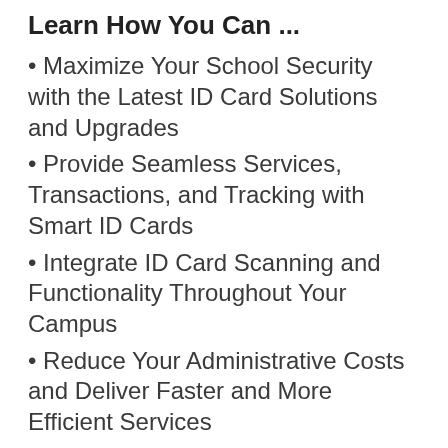Learn How You Can ...
Maximize Your School Security with the Latest ID Card Solutions and Upgrades
Provide Seamless Services, Transactions, and Tracking with Smart ID Cards
Integrate ID Card Scanning and Functionality Throughout Your Campus
Reduce Your Administrative Costs and Deliver Faster and More Efficient Services
Provide Seamless and Cashless Transactions, Checkouts, and Reservations
Use RFID Tracking to Monitor